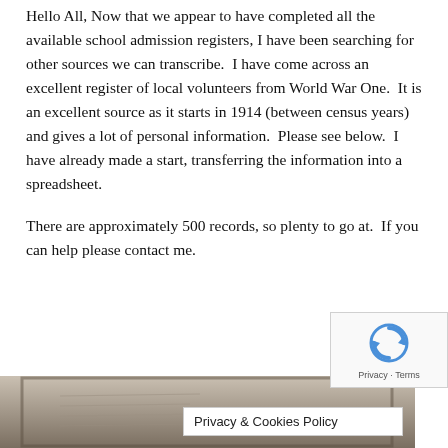Hello All, Now that we appear to have completed all the available school admission registers, I have been searching for other sources we can transcribe. I have come across an excellent register of local volunteers from World War One. It is an excellent source as it starts in 1914 (between census years) and gives a lot of personal information. Please see below. I have already made a start, transferring the information into a spreadsheet.
There are approximately 500 records, so plenty to go at. If you can help please contact me.
[Figure (photo): Partial view of a historical document or register page, appearing aged/yellowed, with faint handwritten text visible. A Privacy & Cookies Policy banner overlays the lower portion of the image.]